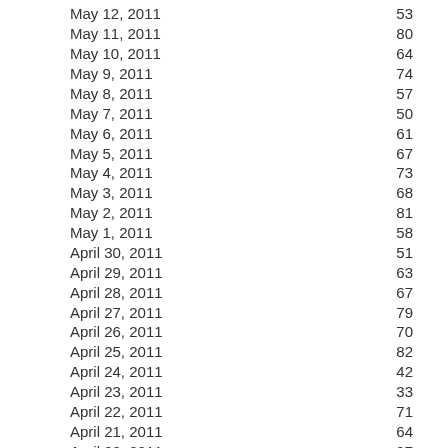| Date | Value |
| --- | --- |
| May 12, 2011 | 53 |
| May 11, 2011 | 80 |
| May 10, 2011 | 64 |
| May 9, 2011 | 74 |
| May 8, 2011 | 57 |
| May 7, 2011 | 50 |
| May 6, 2011 | 61 |
| May 5, 2011 | 67 |
| May 4, 2011 | 73 |
| May 3, 2011 | 68 |
| May 2, 2011 | 81 |
| May 1, 2011 | 58 |
| April 30, 2011 | 51 |
| April 29, 2011 | 63 |
| April 28, 2011 | 67 |
| April 27, 2011 | 79 |
| April 26, 2011 | 70 |
| April 25, 2011 | 82 |
| April 24, 2011 | 42 |
| April 23, 2011 | 33 |
| April 22, 2011 | 71 |
| April 21, 2011 | 64 |
| April 20, 2011 | 97 |